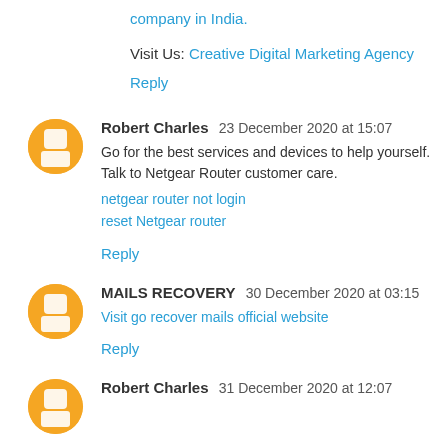company in India.
Visit Us: Creative Digital Marketing Agency
Reply
Robert Charles  23 December 2020 at 15:07
Go for the best services and devices to help yourself. Talk to Netgear Router customer care.
netgear router not login
reset Netgear router
Reply
MAILS RECOVERY  30 December 2020 at 03:15
Visit go recover mails official website
Reply
Robert Charles  31 December 2020 at 12:07